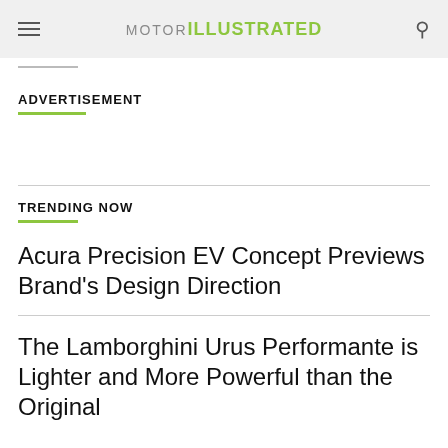MOTOR ILLUSTRATED
ADVERTISEMENT
TRENDING NOW
Acura Precision EV Concept Previews Brand's Design Direction
The Lamborghini Urus Performante is Lighter and More Powerful than the Original